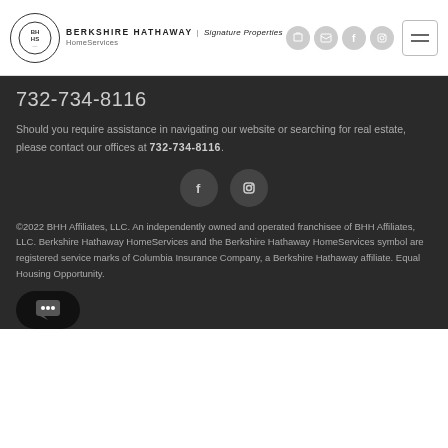[Figure (logo): Berkshire Hathaway HomeServices | Signature Properties logo with circular BH HS emblem]
732-734-8116
Should you require assistance in navigating our website or searching for real estate, please contact our offices at 732-734-8116.
[Figure (other): Social media icons: Facebook and Instagram circular buttons]
©2022 BHH Affiliates, LLC. An independently owned and operated franchisee of BHH Affiliates, LLC. Berkshire Hathaway HomeServices and the Berkshire Hathaway HomeServices symbol are registered service marks of Columbia Insurance Company, a Berkshire Hathaway affiliate. Equal Housing Opportunity.
[Figure (other): Chat button with three dots speech bubble icon]